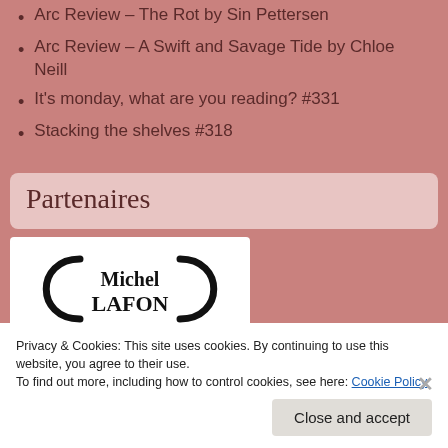Arc Review – The Rot by Sin Pettersen
Arc Review – A Swift and Savage Tide by Chloe Neill
It's monday, what are you reading? #331
Stacking the shelves #318
Partenaires
[Figure (logo): Michel Lafon publisher logo — two parenthesis-like curves flanking 'Michel LAFON' text in bold serif font]
Privacy & Cookies: This site uses cookies. By continuing to use this website, you agree to their use. To find out more, including how to control cookies, see here: Cookie Policy
Close and accept